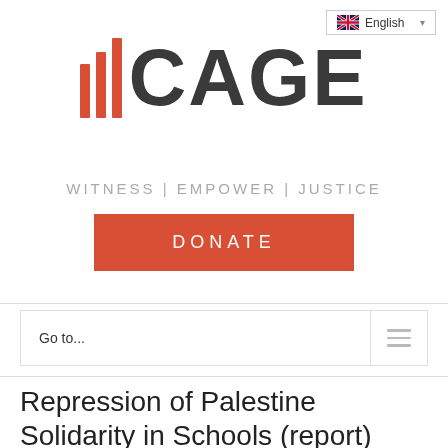[Figure (logo): CAGE logo with three red vertical bars followed by the word CAGE in dark gray bold text]
WITNESS | EMPOWER | JUSTICE
DONATE
Go to...
Repression of Palestine Solidarity in Schools (report)